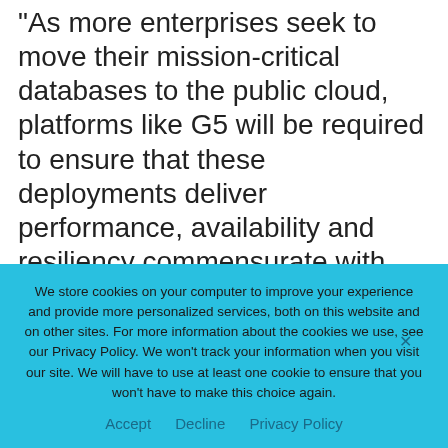“As more enterprises seek to move their mission-critical databases to the public cloud, platforms like G5 will be required to ensure that these deployments deliver performance, availability and resiliency commensurate with traditional on-premise implementations,” said William Fellows, founder and research director of The 451 Group. “The challenge of managing both cloud infrastructure and databases is a new one for most enterprises – automated platforms like G5
We store cookies on your computer to improve your experience and provide more personalized services, both on this website and on other sites. For more information about the cookies we use, see our Privacy Policy. We won’t track your information when you visit our site. We will have to use at least one cookie to ensure that you won’t have to make this choice again.
Accept   Decline   Privacy Policy